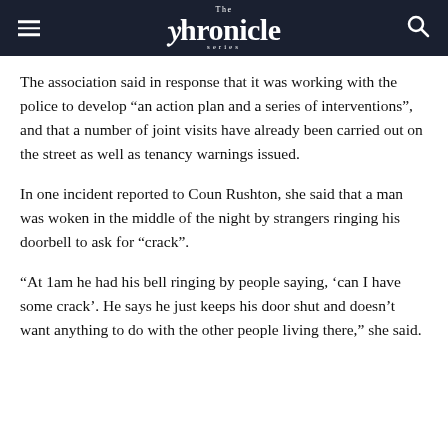The Chronicle series
The association said in response that it was working with the police to develop “an action plan and a series of interventions”, and that a number of joint visits have already been carried out on the street as well as tenancy warnings issued.
In one incident reported to Coun Rushton, she said that a man was woken in the middle of the night by strangers ringing his doorbell to ask for “crack”.
“At 1am he had his bell ringing by people saying, ‘can I have some crack’. He says he just keeps his door shut and doesn’t want anything to do with the other people living there,” she said.